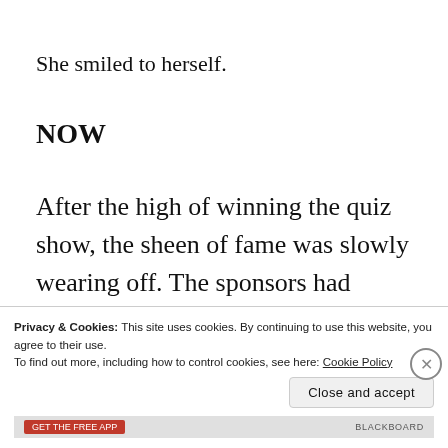She smiled to herself.
NOW
After the high of winning the quiz show, the sheen of fame was slowly wearing off. The sponsors had promised to call her within the
Privacy & Cookies: This site uses cookies. By continuing to use this website, you agree to their use.
To find out more, including how to control cookies, see here: Cookie Policy
Close and accept